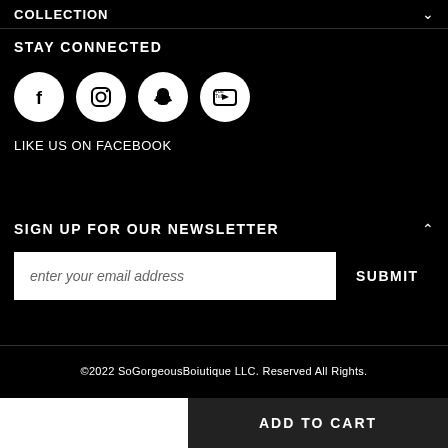COLLECTION
STAY CONNECTED
[Figure (illustration): Four social media icons in white circles on black background: Facebook (f), Instagram (camera), Snapchat (ghost), YouTube (play button logo)]
LIKE US ON FACEBOOK
SIGN UP FOR OUR NEWSLETTER
enter your email address
SUBMIT
©2022 SoGorgeousBoiutique LLC. Reserved All Rights.
ADD TO CART